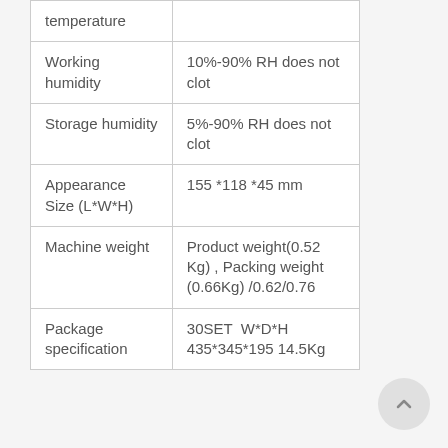| Parameter | Value |
| --- | --- |
| temperature |  |
| Working humidity | 10%-90% RH does not clot |
| Storage humidity | 5%-90% RH does not clot |
| Appearance Size (L*W*H) | 155 *118 *45 mm |
| Machine weight | Product weight(0.52 Kg) , Packing weight (0.66Kg) /0.62/0.76 |
| Package specification | 30SET  W*D*H 435*345*195 14.5Kg |